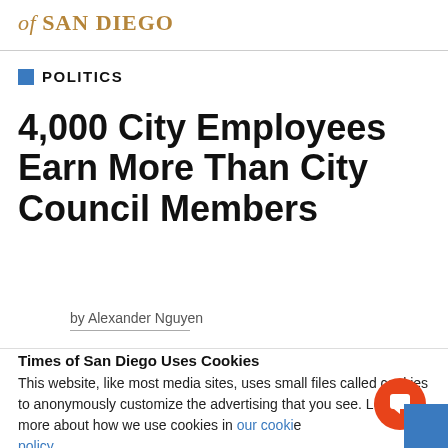of SAN DIEGO
POLITICS
4,000 City Employees Earn More Than City Council Members
by Alexander Nguyen
Times of San Diego Uses Cookies
This website, like most media sites, uses small files called cookies to anonymously customize the advertising that you see. Learn more about how we use cookies in our cookie policy.